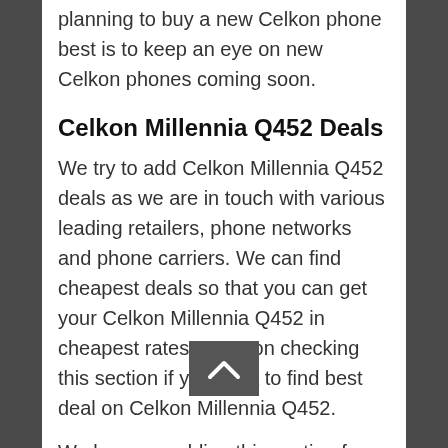planning to buy a new Celkon phone best is to keep an eye on new Celkon phones coming soon.
Celkon Millennia Q452 Deals
We try to add Celkon Millennia Q452 deals as we are in touch with various leading retailers, phone networks and phone carriers. We can find cheapest deals so that you can get your Celkon Millennia Q452 in cheapest rates. Keep on checking this section if you want to find best deal on Celkon Millennia Q452.
We keep on adding this section for coming soon Celkon phones so keep on checking Celkon Phones to get latest news and reviews on New Celkon Phones.
Best Deals from AT&T, BestDealBuys, BLINQ , Bonanza eDeals il's booth, CSH Electric Motor Supply, eBay, gasdetectorshop , Gemplers, Global Industrial, Keple , Querrey Electronics, Battery Power, Single CellS...